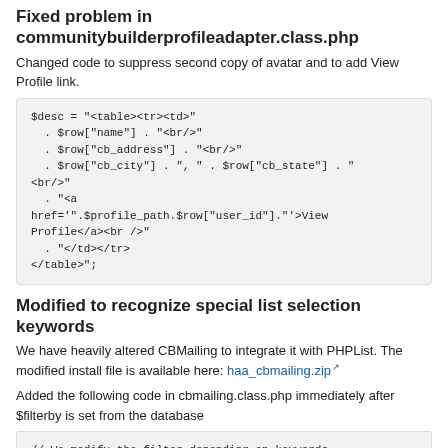Fixed problem in communitybuilderprofileadapter.class.php
Changed code to suppress second copy of avatar and to add View Profile link.
[Figure (screenshot): PHP code block showing $desc variable assignment with HTML table, rows for name, cb_address, cb_city, cb_state, and a View Profile link with $profile_path and $row["user_id"]]
Modified to recognize special list selection keywords
We have heavily altered CBMailing to integrate it with PHPList. The modified install file is available here: haa_cbmailing.zip
Added the following code in cbmailing.class.php immediately after $filterby is set from the database
[Figure (screenshot): PHP code block starting with comment: // We modify the filter depending on keywords included in the filter // This code appears in haareunion.php and must be]